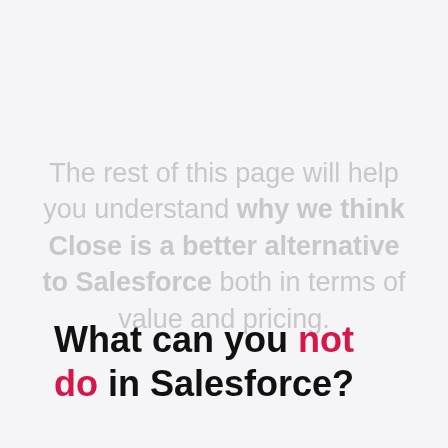The rest of this page will help you understand why we think Close is a better alternative to Salesforce both in terms of value and pricing.
What can you not do in Salesforce?